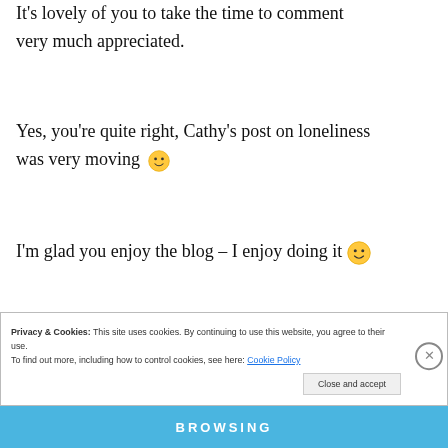It's lovely of you to take the time to comment very much appreciated.
Yes, you're quite right, Cathy's post on loneliness was very moving 🙂
I'm glad you enjoy the blog – I enjoy doing it 🙂
Reply
Privacy & Cookies: This site uses cookies. By continuing to use this website, you agree to their use.
To find out more, including how to control cookies, see here: Cookie Policy
Close and accept
[Figure (other): Advertisement banner strip at bottom with 'BROWSING' text in bold white on blue background]